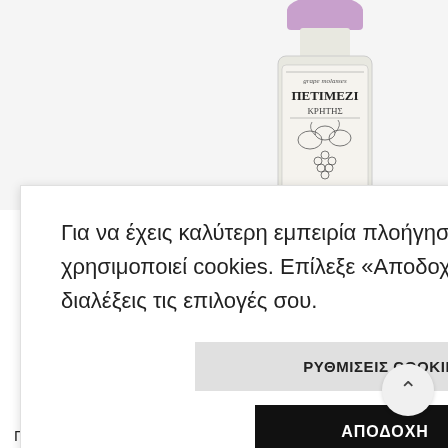[Figure (photo): Product photo of a bottle of Petimezi (grape molasses) from Crete with a label showing grape illustration and text 'grape molasses ΠΕΤΙΜΕΖΙ ΚΡΗΤΗΣ']
Για να έχεις καλύτερη εμπειρία πλοήγησης ο παρόν ιστότοπος χρησιμοποιεί cookies. Επίλεξε «Αποδοχή» ή «Ρυθμίσεις» για να διαλέξεις τις επιλογές σου.
ΡΥΘΜΙΣΕΙΣ COOKIES
ΑΠΟΔΟΧΗ
Παρασκευάζεται από εξαιρετικό κρητικό μούστο.